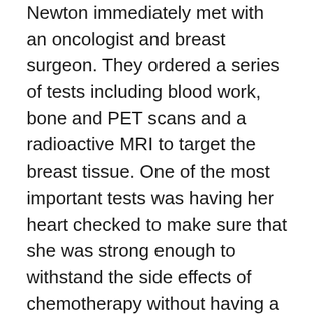Newton immediately met with an oncologist and breast surgeon. They ordered a series of tests including blood work, bone and PET scans and a radioactive MRI to target the breast tissue. One of the most important tests was having her heart checked to make sure that she was strong enough to withstand the side effects of chemotherapy without having a heart attack.
The cancer was found in Newton's right breast tissue and spread to three of five lymph nodes that had to be taken out under her right arm where the cancer was targeted in the PET Scan. Newton immediately started chemotherapy because the surgeon wanted to shrink the cancer first before they did any kind of surgery.
“After my first chemo treatment, I was waiting,” Newton said. “Every day I would freak myself out. Is today the day